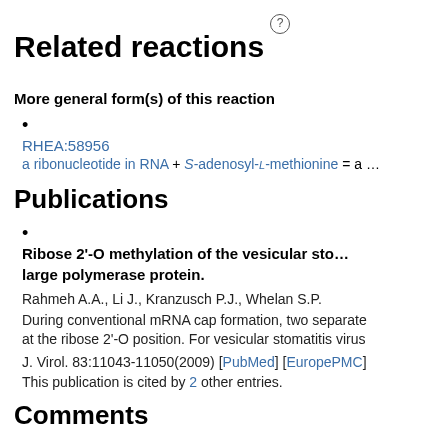Related reactions
More general form(s) of this reaction
RHEA:58956
a ribonucleotide in RNA + S-adenosyl-L-methionine = a ...
Publications
Ribose 2'-O methylation of the vesicular stomatitis virus large polymerase protein.
Rahmeh A.A., Li J., Kranzusch P.J., Whelan S.P.
During conventional mRNA cap formation, two separate ... at the ribose 2'-O position. For vesicular stomatitis virus ...
J. Virol. 83:11043-11050(2009) [PubMed] [EuropePMC]
This publication is cited by 2 other entries.
Comments